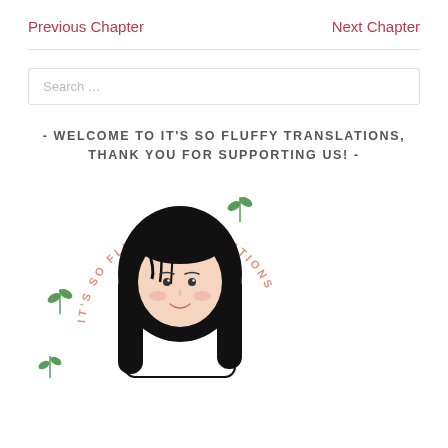Previous Chapter    Next Chapter
Search …
- WELCOME TO IT'S SO FLUFFY TRANSLATIONS, THANK YOU FOR SUPPORTING US! -
[Figure (illustration): Cartoon illustration of a girl with long black hair holding something, with circular text reading 'IT'S SO FLUFFY TRANSLATIONS' in pink, surrounded by small green plant sprouts.]